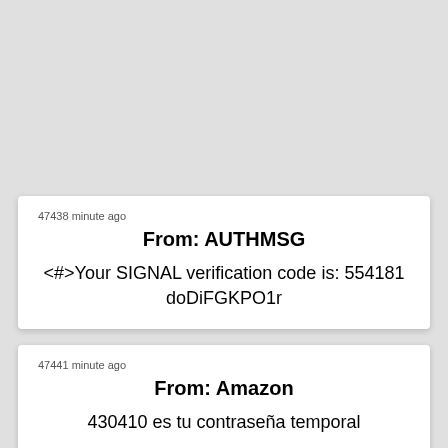47438 minute ago
From: AUTHMSG
<#>Your SIGNAL verification code is: 554181 doDiFGKPO1r
47441 minute ago
From: Amazon
430410 es tu contraseña temporal